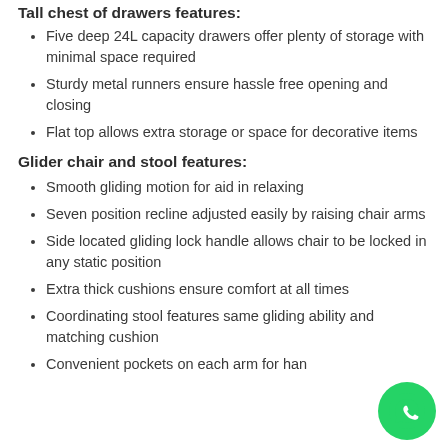Tall chest of drawers features:
Five deep 24L capacity drawers offer plenty of storage with minimal space required
Sturdy metal runners ensure hassle free opening and closing
Flat top allows extra storage or space for decorative items
Glider chair and stool features:
Smooth gliding motion for aid in relaxing
Seven position recline adjusted easily by raising chair arms
Side located gliding lock handle allows chair to be locked in any static position
Extra thick cushions ensure comfort at all times
Coordinating stool features same gliding ability and matching cushion
Convenient pockets on each arm for han…